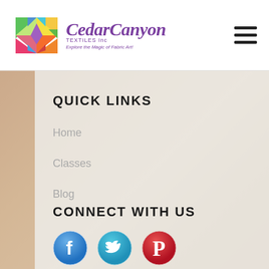Cedar Canyon Textiles, Inc. — Explore the Magic of Fabric Art!
QUICK LINKS
Home
Classes
Blog
CONNECT WITH US
[Figure (logo): Social media icons: Facebook, Twitter, Pinterest]